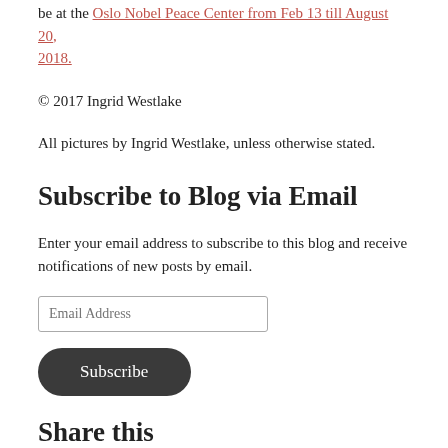be at the Oslo Nobel Peace Center from Feb 13 till August 20, 2018.
© 2017 Ingrid Westlake
All pictures by Ingrid Westlake, unless otherwise stated.
Subscribe to Blog via Email
Enter your email address to subscribe to this blog and receive notifications of new posts by email.
Email Address
Subscribe
Share this